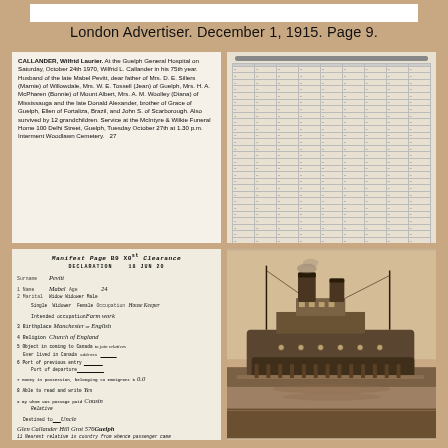London Advertiser. December 1, 1915. Page 9.
[Figure (photo): Newspaper obituary clipping: CALLANDER, Wilfrid Laurier. At the Guelph General Hospital on Saturday, October 24th 1970, Wilfrid L. Callander in his 75th year. Husband of the late Mabel Pevitt, dear father of Mrs. D. E. Sillers (Marnie) of Willowdale, Mrs. W. E. Tossell (Jean) of Guelph, Mrs. H. A. McPharen (Bonnie) of Mount Albert, Mrs. A. M. Woolley (Diana) of Mississauga and the late Donald Alexander, brother of Grace of Guelph, Ellen of Fortaliza, Brazil, and John S. of Scarborough. Also survived by 12 grandchildren. Service at the McIntyre & Wilkie Funeral Home 100 Delhi Street, Guelph, Tuesday October 27th at 1.30 p.m. Interment Woodlawn Cemetery.]
[Figure (table-as-image): Handwritten registry or ledger table with multiple columns and rows, difficult to read — appears to be a historical record or ship manifest.]
[Figure (photo): Immigration declaration form dated 18 JUN 20. Surname: Pevitt. First name: Mabel. Age: 24. Birthplace: Manchester, English. Religion: Church of England. Occupation: House Keeper. Intended occupation: Farm work. Object in coming to Canada: to join relatives. Destination: Uncle. Money: $0.00. Nearest relative in country from whence passenger came: Father, James Pevitt, 376 Oldham St, Warrington.]
[Figure (photo): Sepia-toned photograph of a steamship at dock, showing two smokestacks and masts.]